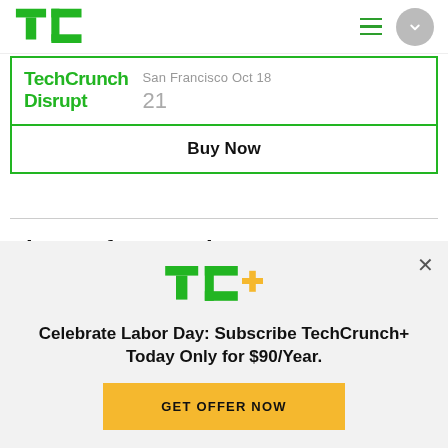TechCrunch logo, hamburger menu, scroll button
[Figure (logo): TechCrunch TC logo in green]
TechCrunch Disrupt
San Francisco Oct 18
21
Buy Now
Sign up for Newsletters
See all newsletters
[Figure (logo): TC+ logo in green and yellow]
Celebrate Labor Day: Subscribe TechCrunch+ Today Only for $90/Year.
GET OFFER NOW